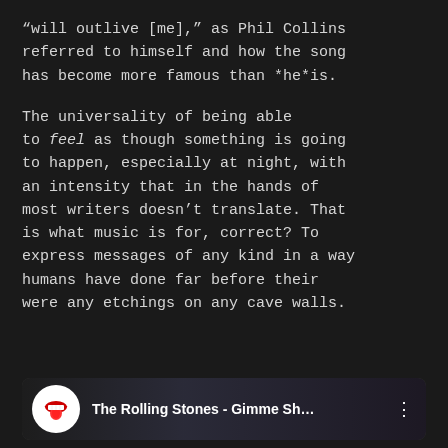“will outlive [me],” as Phil Collins referred to himself and how the song has become more famous than *he*is.
The universality of being able to feel as though something is going to happen, especially at night, with an intensity that in the hands of most writers doesn’t translate. That is what music is for, correct? To express messages of any kind in a way humans have done far before their were any etchings on any cave walls.
[Figure (screenshot): YouTube video thumbnail for 'The Rolling Stones - Gimme Sh...' showing the Rolling Stones tongue logo on a white circle against a dark background with concert imagery]